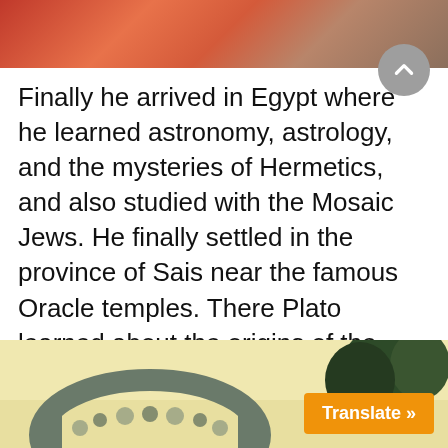[Figure (photo): Top portion of a photo showing warm reddish-orange tones, appears to be a painting or artistic image]
Finally he arrived in Egypt where he learned astronomy, astrology, and the mysteries of Hermetics, and also studied with the Mosaic Jews. He finally settled in the province of Sais near the famous Oracle temples. There Plato learned about the origins of the Universe, the immortality of the Soul and the process of reincarnation through which the Soul evolves.
[Figure (photo): Bottom portion showing a stone arch structure with trees and a warm yellow sky background, with an orange Translate button overlay]